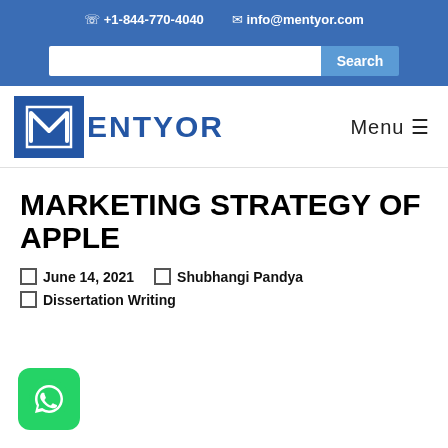☎ +1-844-770-4040  ✉ info@mentyor.com
[Figure (logo): Mentyor logo with blue M icon and blue text MENTYOR, with Menu ☰ button on the right]
MARKETING STRATEGY OF APPLE
June 14, 2021   Shubhangi Pandya
Dissertation Writing
[Figure (other): WhatsApp green chat button icon in bottom left corner]